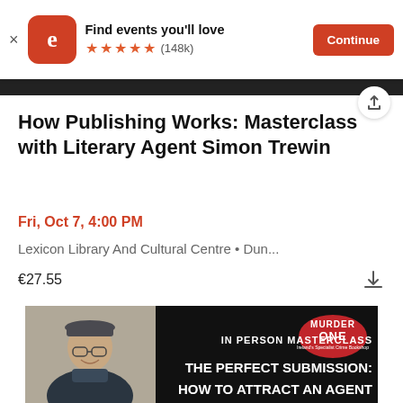[Figure (screenshot): Eventbrite app banner with logo, 'Find events you'll love', 5 star rating (148k reviews), and Continue button]
How Publishing Works: Masterclass with Literary Agent Simon Trewin
Fri, Oct 7, 4:00 PM
Lexicon Library And Cultural Centre • Dun...
€27.55
[Figure (photo): Event promotional image showing a man wearing a flat cap and glasses smiling on the left, with 'Murder One' logo top right, and text: IN PERSON MASTERCLASS THE PERFECT SUBMISSION: HOW TO ATTRACT AN AGENT on black background]